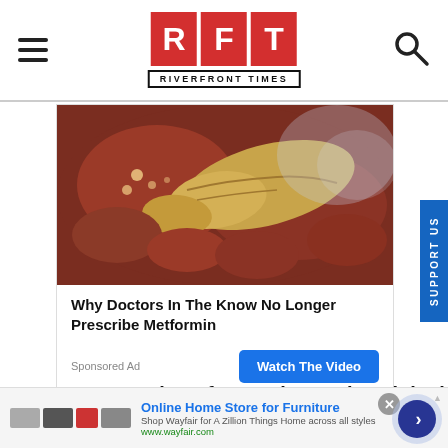[Figure (logo): RFT Riverfront Times logo with red boxes for R, F, T letters and subtitle below]
[Figure (photo): Medical advertisement showing anatomical illustration of a pancreas with surrounding tissue. Headline: Why Doctors In The Know No Longer Prescribe Metformin. Watch The Video button. Sponsored Ad label.]
Patrons can register for a Saint Louis Originals rewards
[Figure (screenshot): Wayfair banner advertisement: Online Home Store for Furniture. Shop Wayfair for A Zillion Things Home across all styles. www.wayfair.com]